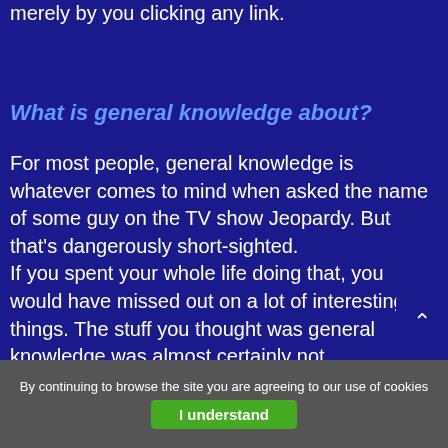merely by you clicking any link.
What is general knowledge about?
For most people, general knowledge is whatever comes to mind when asked the name of some guy on the TV show Jeopardy. But that's dangerously short-sighted. If you spent your whole life doing that, you would have missed out on a lot of interesting things. The stuff you thought was general knowledge was almost certainly not.
How to Do Everything Adobe Acrobat X 1st Edition
By continuing to browse the site you are agreeing to our use of cookies
I understand